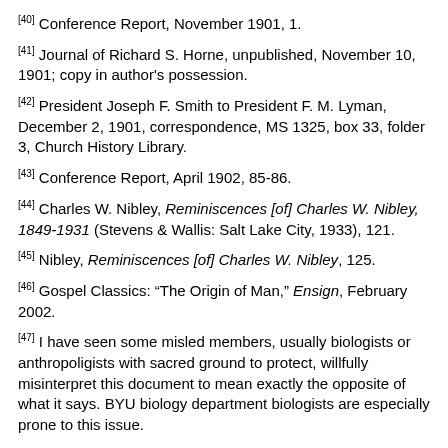[40] Conference Report, November 1901, 1.
[41] Journal of Richard S. Horne, unpublished, November 10, 1901; copy in author's possession.
[42] President Joseph F. Smith to President F. M. Lyman, December 2, 1901, correspondence, MS 1325, box 33, folder 3, Church History Library.
[43] Conference Report, April 1902, 85-86.
[44] Charles W. Nibley, Reminiscences [of] Charles W. Nibley, 1849-1931 (Stevens & Wallis: Salt Lake City, 1933), 121.
[45] Nibley, Reminiscences [of] Charles W. Nibley, 125.
[46] Gospel Classics: “The Origin of Man,” Ensign, February 2002.
[47] I have seen some misled members, usually biologists or anthropoligists with sacred ground to protect, willfully misinterpret this document to mean exactly the opposite of what it says. BYU biology department biologists are especially prone to this issue.